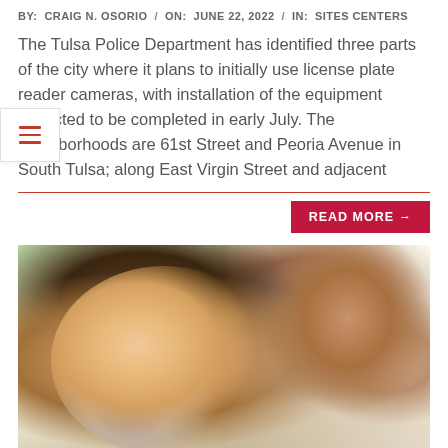BY: CRAIG N. OSORIO / ON: JUNE 22, 2022 / IN: SITES CENTERS
The Tulsa Police Department has identified three parts of the city where it plans to initially use license plate reader cameras, with installation of the equipment expected to be completed in early July. The neighborhoods are 61st Street and Peoria Avenue in South Tulsa; along East Virgin Street and adjacent
READ MORE →
[Figure (photo): A smiling young Asian boy in the foreground holding a sandwich, with other children blurred in the background outdoors]